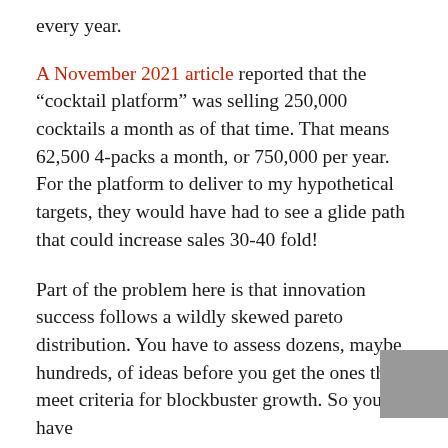every year.
A November 2021 article reported that the “cocktail platform” was selling 250,000 cocktails a month as of that time. That means 62,500 4-packs a month, or 750,000 per year. For the platform to deliver to my hypothetical targets, they would have had to see a glide path that could increase sales 30-40 fold!
Part of the problem here is that innovation success follows a wildly skewed pareto distribution. You have to assess dozens, maybe hundreds, of ideas before you get the ones that meet criteria for blockbuster growth. So you have to be happy to winnow down a large number to a